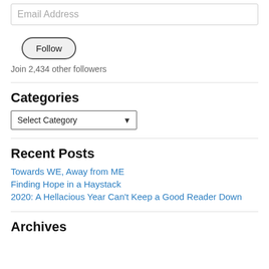Email Address
Follow
Join 2,434 other followers
Categories
Select Category
Recent Posts
Towards WE, Away from ME
Finding Hope in a Haystack
2020: A Hellacious Year Can't Keep a Good Reader Down
Archives